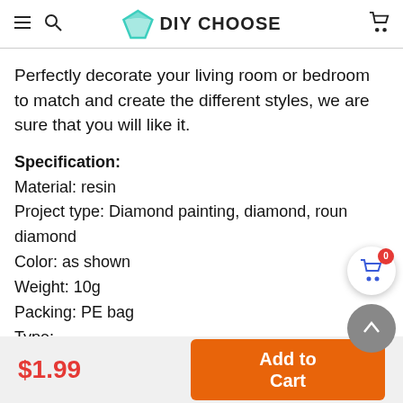DIY CHOOSE
Perfectly decorate your living room or bedroom to match and create the different styles, we are sure that you will like it.
Specification:
Material: resin
Project type: Diamond painting, diamond, round diamond
Color: as shown
Weight: 10g
Packing: PE bag
Type:
DMC-704, DMC-3823, DMC-712, DMC-3807, DMC-3837, DMC-153, DMC-3824
$1.99
Add to Cart